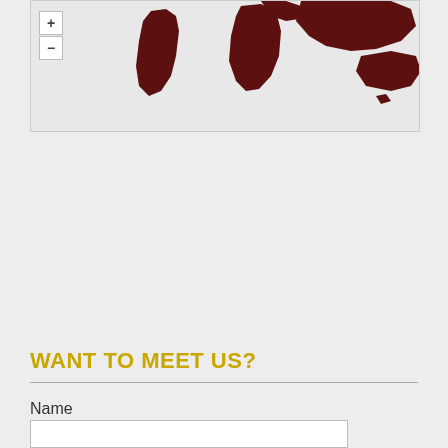[Figure (map): Interactive world map with dark red/maroon colored continents on a light grey background, showing zoom in (+) and zoom out (-) controls on the left side. Continents visible include South America, Africa, Asia, and Australia.]
WANT TO MEET US?
Name